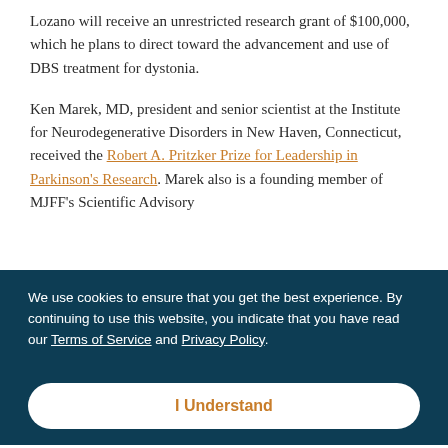Lozano will receive an unrestricted research grant of $100,000, which he plans to direct toward the advancement and use of DBS treatment for dystonia.
Ken Marek, MD, president and senior scientist at the Institute for Neurodegenerative Disorders in New Haven, Connecticut, received the Robert A. Pritzker Prize for Leadership in Parkinson's Research. Marek also is a founding member of MJFF's Scientific Advisory
We use cookies to ensure that you get the best experience. By continuing to use this website, you indicate that you have read our Terms of Service and Privacy Policy.
I Understand